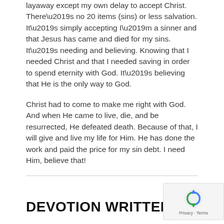layaway except my own delay to accept Christ. There’s no 20 items (sins) or less salvation. It’s simply accepting I’m a sinner and that Jesus has came and died for my sins. It’s needing and believing. Knowing that I needed Christ and that I needed saving in order to spend eternity with God. It’s believing that He is the only way to God.
Christ had to come to make me right with God. And when He came to live, die, and be resurrected, He defeated death. Because of that, I will give and live my life for Him. He has done the work and paid the price for my sin debt. I need Him, believe that!
DEVOTION WRITTEN BY